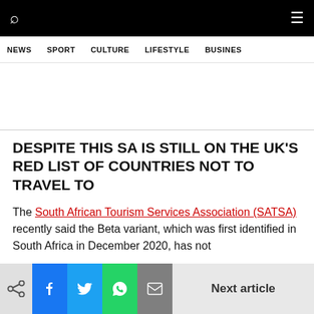NEWS  SPORT  CULTURE  LIFESTYLE  BUSINESS
DESPITE THIS SA IS STILL ON THE UK'S RED LIST OF COUNTRIES NOT TO TRAVEL TO
The South African Tourism Services Association (SATSA) recently said the Beta variant, which was first identified in South Africa in December 2020, has not
Next article